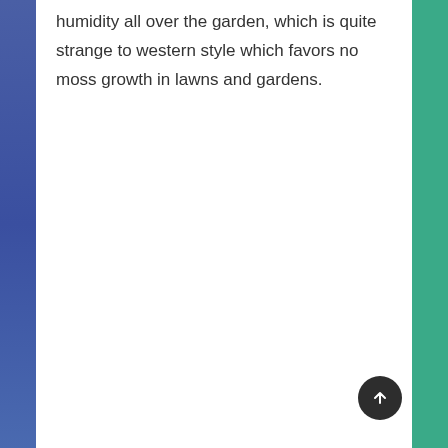humidity all over the garden, which is quite strange to western style which favors no moss growth in lawns and gardens.